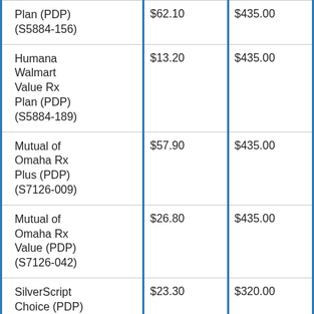| Plan Name | Monthly Premium | Annual Deductible |
| --- | --- | --- |
| Plan (PDP) (S5884-156) | $62.10 | $435.00 |
| Humana Walmart Value Rx Plan (PDP) (S5884-189) | $13.20 | $435.00 |
| Mutual of Omaha Rx Plus (PDP) (S7126-009) | $57.90 | $435.00 |
| Mutual of Omaha Rx Value (PDP) (S7126-042) | $26.80 | $435.00 |
| SilverScript Choice (PDP) (S5601-020) | $23.30 | $320.00 |
| SilverScript Plus (PDP) | $79.50 | $0 |